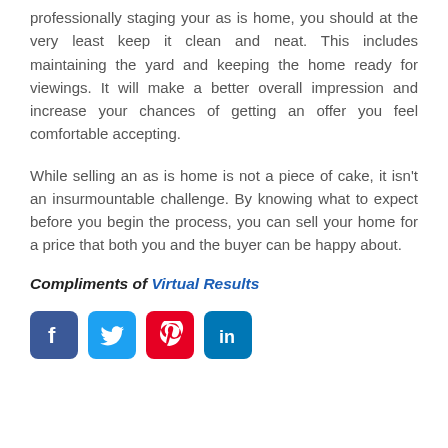professionally staging your as is home, you should at the very least keep it clean and neat. This includes maintaining the yard and keeping the home ready for viewings. It will make a better overall impression and increase your chances of getting an offer you feel comfortable accepting.
While selling an as is home is not a piece of cake, it isn't an insurmountable challenge. By knowing what to expect before you begin the process, you can sell your home for a price that both you and the buyer can be happy about.
Compliments of Virtual Results
[Figure (infographic): Social media icons: Facebook (blue), Twitter (cyan), Pinterest (red), LinkedIn (blue)]